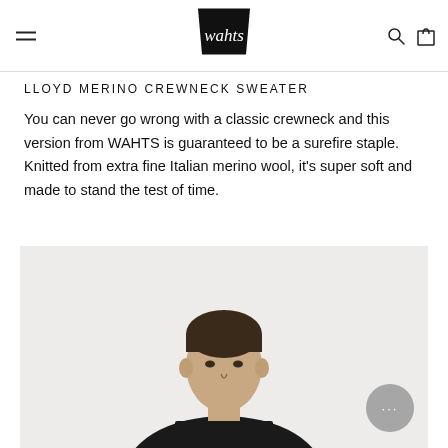wahts (logo) — navigation header with hamburger menu, search icon, and cart icon
LLOYD MERINO CREWNECK SWEATER
You can never go wrong with a classic crewneck and this version from WAHTS is guaranteed to be a surefire staple. Knitted from extra fine Italian merino wool, it's super soft and made to stand the test of time.
[Figure (photo): Young male model with dark hair wearing a dark crewneck sweater, shown from shoulders up against a light beige/cream background. A chat bubble button with ellipsis (···) is visible in the lower right of the image.]